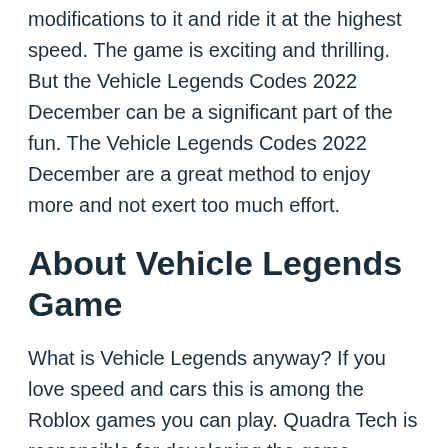modifications to it and ride it at the highest speed. The game is exciting and thrilling. But the Vehicle Legends Codes 2022 December can be a significant part of the fun. The Vehicle Legends Codes 2022 December are a great method to enjoy more and not exert too much effort.
About Vehicle Legends Game
What is Vehicle Legends anyway? If you love speed and cars this is among the Roblox games you can play. Quadra Tech is responsible for developing the game. Phoninian created the studio. It is a relatively new game that was released in 2020.